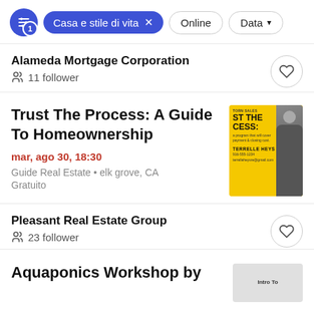Casa e stile di vita × | Online | Data
Alameda Mortgage Corporation
11 follower
Trust The Process: A Guide To Homeownership
mar, ago 30, 18:30
Guide Real Estate • elk grove, CA
Gratuito
Pleasant Real Estate Group
23 follower
Aquaponics Workshop by